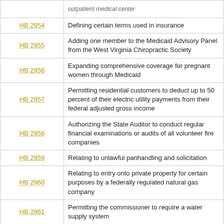| Bill | Description |
| --- | --- |
|  | outpatient medical center |
| HB 2954 | Defining certain terms used in insurance |
| HB 2955 | Adding one member to the Medicaid Advisory Panel from the West Virginia Chiropractic Society |
| HB 2956 | Expanding comprehensive coverage for pregnant women through Medicaid |
| HB 2957 | Permitting residential customers to deduct up to 50 percent of their electric utility payments from their federal adjusted gross income |
| HB 2958 | Authorizing the State Auditor to conduct regular financial examinations or audits of all volunteer fire companies |
| HB 2959 | Relating to unlawful panhandling and solicitation |
| HB 2960 | Relating to entry onto private property for certain purposes by a federally regulated natural gas company |
| HB 2961 | Permitting the commissioner to require a water supply system |